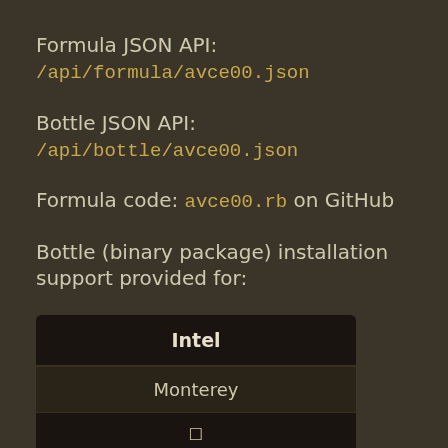Formula JSON API: /api/formula/avce00.json
Bottle JSON API: /api/bottle/avce00.json
Formula code: avce00.rb on GitHub
Bottle (binary package) installation support provided for:
| Intel |
| --- |
| Monterey |
| ✓ |
| Big Sur |
| ✓ |
| Catalina |